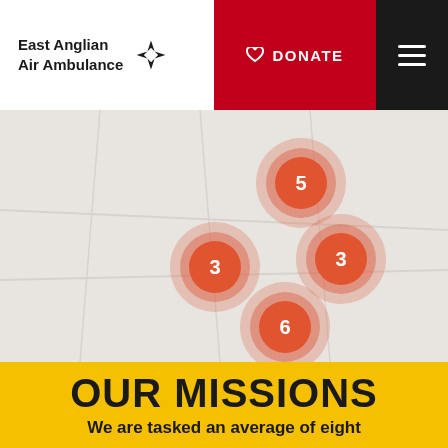East Anglian Air Ambulance — DONATE — Menu
[Figure (map): Interactive map showing clustered mission markers with numbers 5, 3, 3, 6 in orange bubble clusters on a light grey map background]
OUR MISSIONS
We are tasked an average of eight